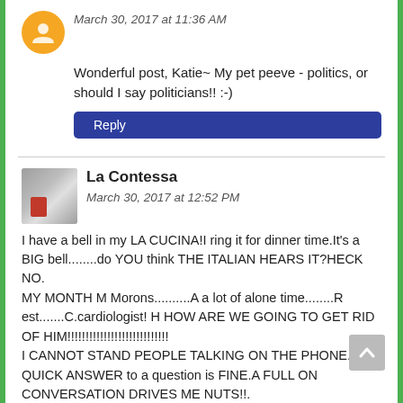March 30, 2017 at 11:36 AM
Wonderful post, Katie~ My pet peeve - politics, or should I say politicians!! :-)
Reply
La Contessa
March 30, 2017 at 12:52 PM
I have a bell in my LA CUCINA!I ring it for dinner time.It's a BIG bell........do YOU think THE ITALIAN HEARS IT?HECK NO.
MY MONTH M Morons..........A a lot of alone time........Rest.......C.cardiologist! H HOW ARE WE GOING TO GET RID OF HIM!!!!!!!!!!!!!!!!!!!!!!!!!!!!
I CANNOT STAND PEOPLE TALKING ON THE PHONE.A QUICK ANSWER to a question is FINE.A FULL ON CONVERSATION DRIVES ME NUTS!!.
THIS A SIGN we are becoming OLD!!!!!!!!!!!!!?XX
Reply